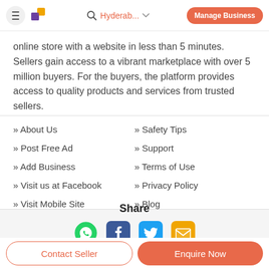Hyderab... | Manage Business
online store with a website in less than 5 minutes. Sellers gain access to a vibrant marketplace with over 5 million buyers. For the buyers, the platform provides access to quality products and services from trusted sellers.
» About Us
» Safety Tips
» Post Free Ad
» Support
» Add Business
» Terms of Use
» Visit us at Facebook
» Privacy Policy
» Visit Mobile Site
» Blog
Share
[Figure (other): Social share icons: WhatsApp (green), Facebook (blue), Twitter (blue), Email (yellow/orange)]